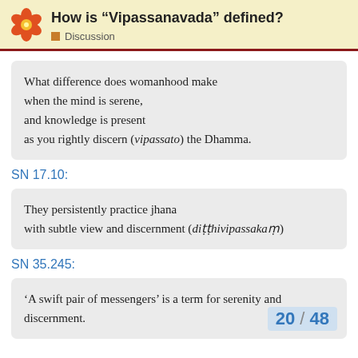How is “Vipassanavada” defined? Discussion
What difference does womanhood make when the mind is serene, and knowledge is present as you rightly discern (vipassato) the Dhamma.
SN 17.10:
They persistently practice jhana with subtle view and discernment (diṭṭhivipassakaṁ)
SN 35.245:
‘A swift pair of messengers’ is a term for serenity and discernment.
20 / 48